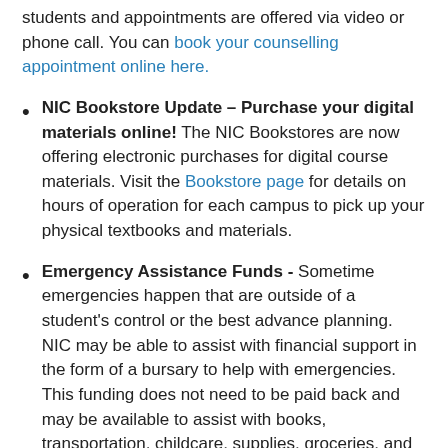students and appointments are offered via video or phone call. You can book your counselling appointment online here.
NIC Bookstore Update – Purchase your digital materials online! The NIC Bookstores are now offering electronic purchases for digital course materials. Visit the Bookstore page for details on hours of operation for each campus to pick up your physical textbooks and materials.
Emergency Assistance Funds - Sometime emergencies happen that are outside of a student's control or the best advance planning. NIC may be able to assist with financial support in the form of a bursary to help with emergencies. This funding does not need to be paid back and may be available to assist with books, transportation, childcare, supplies, groceries, and other essentials. Contact a financial aid advisor to find out more. Book online here.
NIC Inform Tool for More Information available